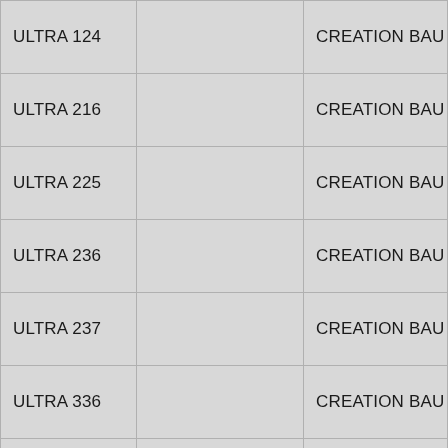|  |  |  |
| --- | --- | --- |
| ULTRA 124 |  | CREATION BAU |
| ULTRA 216 |  | CREATION BAU |
| ULTRA 225 |  | CREATION BAU |
| ULTRA 236 |  | CREATION BAU |
| ULTRA 237 |  | CREATION BAU |
| ULTRA 336 |  | CREATION BAU |
| ULTRA 402 |  | CREATION BAU |
| ULTRA 403 |  | CREATION BAU |
| ULTRA 406 |  | CREATION BAU |
| ULTRA 407 |  | CREATION BAU |